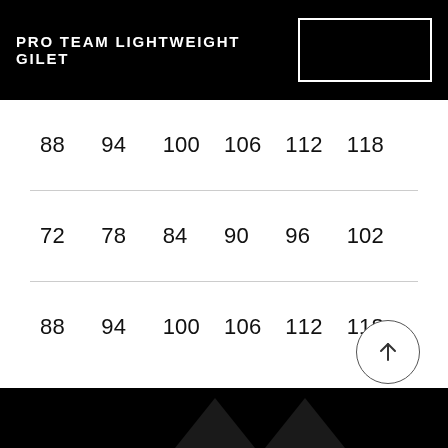PRO TEAM LIGHTWEIGHT GILET
| 88 | 94 | 100 | 106 | 112 | 118 |
| 72 | 78 | 84 | 90 | 96 | 102 |
| 88 | 94 | 100 | 106 | 112 | 118 |